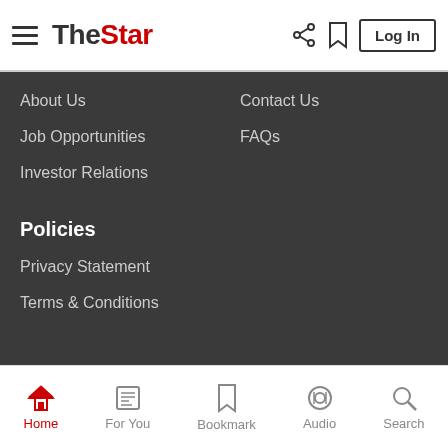The Star - Log In
About Us
Contact Us
Job Opportunities
FAQs
Investor Relations
Policies
Privacy Statement
Terms & Conditions
[Figure (infographic): Social media icons: YouTube, Instagram, Twitter, Facebook, Telegram]
Read unlimited content without ads. More info on our Premium Plan. >
Home | For You | Bookmark | Audio | Search